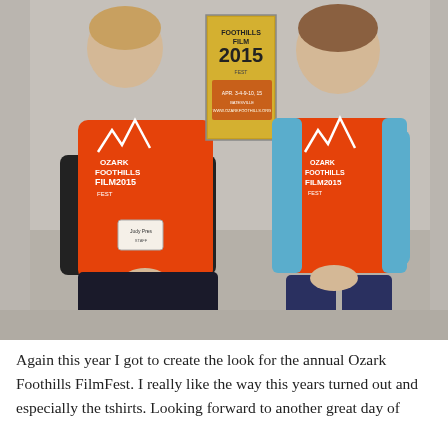[Figure (photo): Two women standing side by side wearing orange Ozark Foothills FilmFest 2015 t-shirts. The woman on the left also wears a black long-sleeve shirt underneath and has a name badge. The woman on the right wears a light blue cardigan over her orange shirt and navy capri pants. Between them is a poster for the Ozark Foothills Film Fest 2015 event.]
Again this year I got to create the look for the annual Ozark Foothills FilmFest. I really like the way this years turned out and especially the tshirts. Looking forward to another great day of